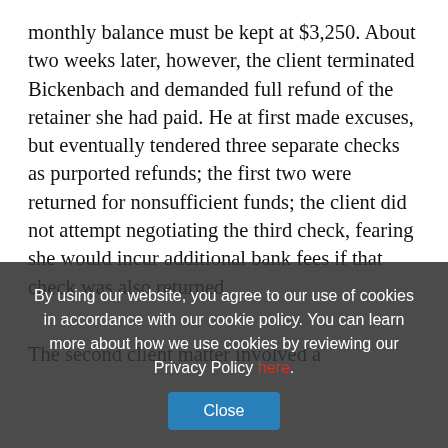monthly balance must be kept at $3,250. About two weeks later, however, the client terminated Bickenbach and demanded full refund of the retainer she had paid. He at first made excuses, but eventually tendered three separate checks as purported refunds; the first two were returned for nonsufficient funds; the client did not attempt negotiating the third check, fearing she would incur additional bank fees if that check was also returned.
The second client matter involved a [partially obscured by cookie overlay]
[Cookie overlay] By using our website, you agree to our use of cookies in accordance with our cookie policy. You can learn more about how we use cookies by reviewing our Privacy Policy here.